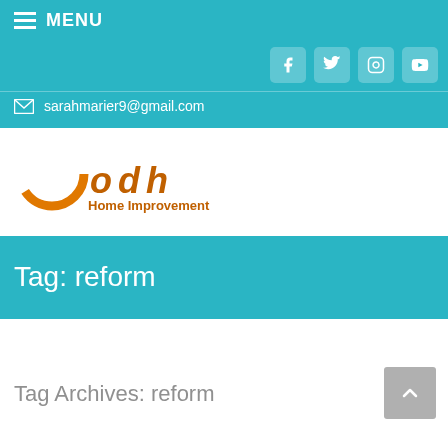≡ MENU
sarahmarier9@gmail.com
[Figure (logo): ODH Home Improvement logo with orange circular icon and orange text]
Tag: reform
Tag Archives: reform